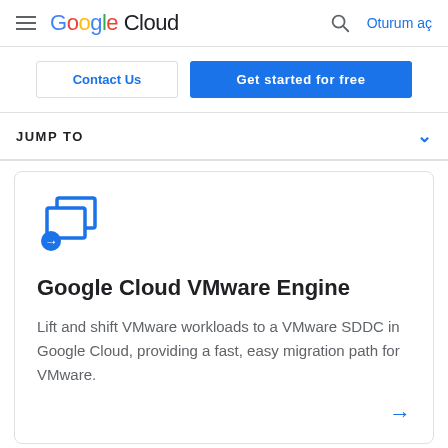Google Cloud — Oturum aç
Contact Us
Get started for free
JUMP TO
[Figure (logo): Google Cloud VMware Engine icon — two overlapping blue rectangles with a blue circle arrow icon]
Google Cloud VMware Engine
Lift and shift VMware workloads to a VMware SDDC in Google Cloud, providing a fast, easy migration path for VMware.